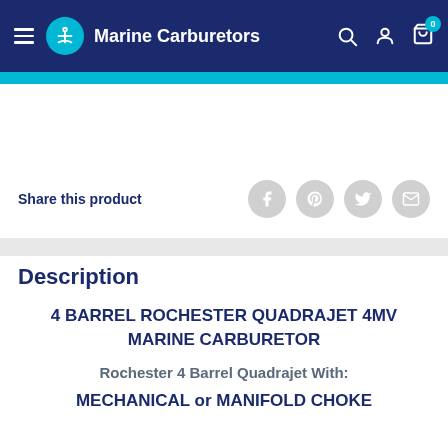Marine Carburetors
Share this product
Description
4 BARREL ROCHESTER QUADRAJET 4MV MARINE CARBURETOR
Rochester 4 Barrel Quadrajet With:
MECHANICAL or MANIFOLD CHOKE